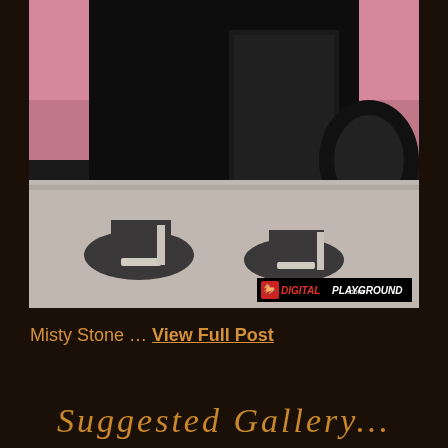[Figure (photo): Photo of Misty Stone crouching near a pink car wearing black outfit and high heels, with Digital Playground watermark logo in bottom right corner]
Misty Stone … View Full Post
Suggested Gallery...